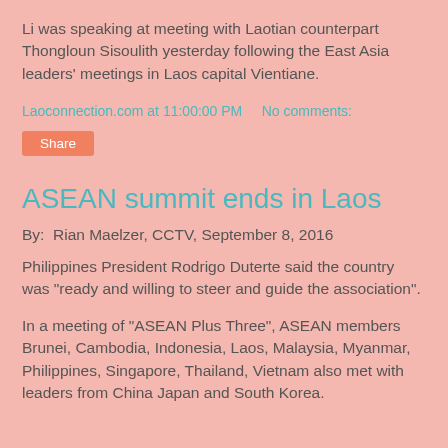Li was speaking at meeting with Laotian counterpart Thongloun Sisoulith yesterday following the East Asia leaders' meetings in Laos capital Vientiane.
Laoconnection.com at 11:00:00 PM    No comments:
Share
ASEAN summit ends in Laos
By:  Rian Maelzer, CCTV, September 8, 2016
Philippines President Rodrigo Duterte said the country was “ready and willing to steer and guide the association”.
In a meeting of “ASEAN Plus Three”, ASEAN members Brunei, Cambodia, Indonesia, Laos, Malaysia, Myanmar, Philippines, Singapore, Thailand, Vietnam also met with leaders from China Japan and South Korea.